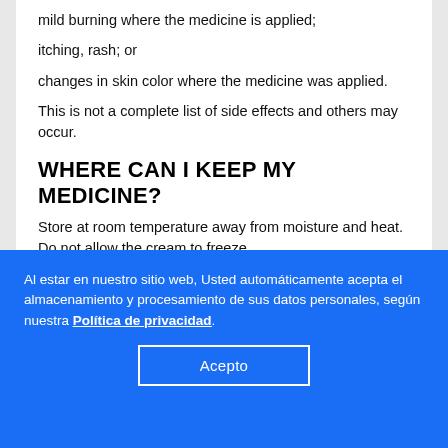mild burning where the medicine is applied;
itching, rash; or
changes in skin color where the medicine was applied.
This is not a complete list of side effects and others may occur.
WHERE CAN I KEEP MY MEDICINE?
Store at room temperature away from moisture and heat. Do not allow the cream to freeze.
Productos en la misma categoría:
Al estar en nuestro sitio web, Usted automáticamente acepta el almacenamiento y procesamiento de sus datos personales, según nuestra Política de privacidad.
Acepto